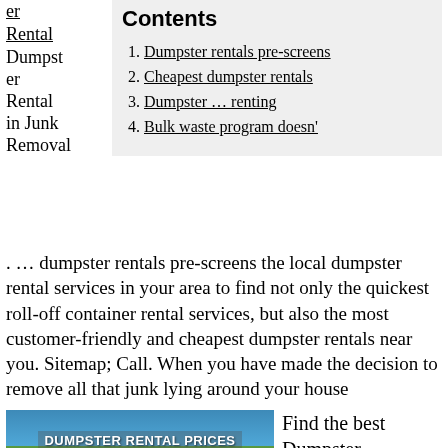er Rental Dumpster Rental in Junk Removal
Contents
1. Dumpster rentals pre-screens
2. Cheapest dumpster rentals
3. Dumpster … renting
4. Bulk waste program doesn'
. … dumpster rentals pre-screens the local dumpster rental services in your area to find not only the quickest roll-off container rental services, but also the most customer-friendly and cheapest dumpster rentals near you. Sitemap; Call. When you have made the decision to remove all that junk lying around your house
[Figure (photo): Photo of dumpster rental with text 'DUMPSTER RENTAL PRICES' and 'BudgetDumpster.com']
Find the best Dumpster